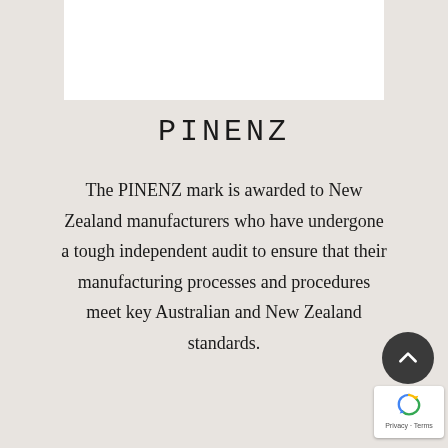[Figure (other): White rectangular box at top center of page, serving as a decorative/image placeholder]
PINENZ
The PINENZ mark is awarded to New Zealand manufacturers who have undergone a tough independent audit to ensure that their manufacturing processes and procedures meet key Australian and New Zealand standards.
[Figure (other): Scroll-to-top circular dark button with upward chevron arrow icon, bottom right]
[Figure (other): Google reCAPTCHA badge with Privacy and Terms links, bottom right corner]